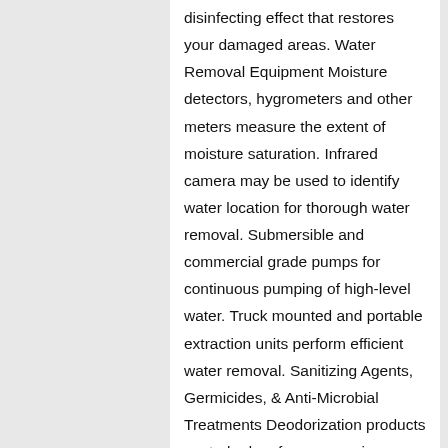disinfecting effect that restores your damaged areas. Water Removal Equipment Moisture detectors, hygrometers and other meters measure the extent of moisture saturation. Infrared camera may be used to identify water location for thorough water removal. Submersible and commercial grade pumps for continuous pumping of high-level water. Truck mounted and portable extraction units perform efficient water removal. Sanitizing Agents, Germicides, & Anti-Microbial Treatments Deodorization products control odors from excessive moisture. Disinfection products stop the growth of bacteria, fungi, mildew, and other harmful microorganisms. State-of-the-Art Drying Equipment Drying equipment helps prevent property water damage like swelling and warping of floors, walls and furniture. Industrial grade